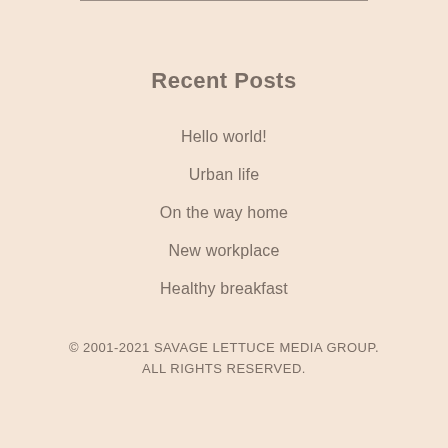Recent Posts
Hello world!
Urban life
On the way home
New workplace
Healthy breakfast
© 2001-2021 SAVAGE LETTUCE MEDIA GROUP. ALL RIGHTS RESERVED.